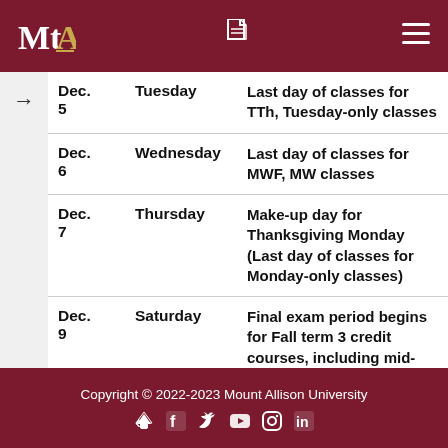MtA [logo] | PDF icon | Menu icon
| Date | Day | Description |
| --- | --- | --- |
| Dec. 5 | Tuesday | Last day of classes for TTh, Tuesday-only classes |
| Dec. 6 | Wednesday | Last day of classes for MWF, MW classes |
| Dec. 7 | Thursday | Make-up day for Thanksgiving Monday (Last day of classes for Monday-only classes) |
| Dec. 9 | Saturday | Final exam period begins for Fall term 3 credit courses, including mid-year tests in 3 and 6 credit full year courses |
Copyright © 2022-2023 Mount Allison University